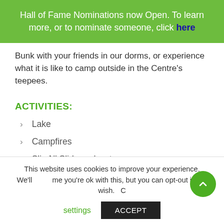Hall of Fame Nominations now Open. To learn more, or to nominate someone, click here
Bunk with your friends in our dorms, or experience what it is like to camp outside in the Centre's teepees.
ACTIVITIES:
Lake
Campfires
Slip N' Slide and water games
This website uses cookies to improve your experience. We'll assume you're ok with this, but you can opt-out if you wish.